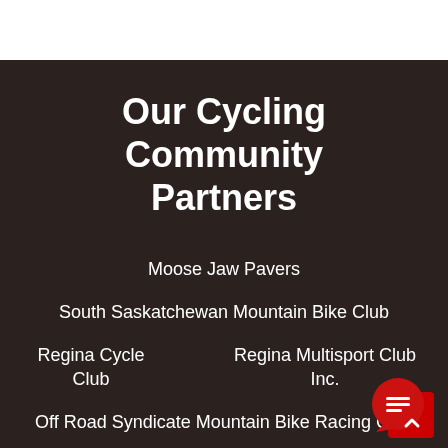Our Cycling Community Partners
Moose Jaw Pavers
South Saskatchewan Mountain Bike Club
Regina Cycle Club
Regina Multisport Club Inc.
Off Road Syndicate Mountain Bike Racing Club
Bike Regina
13th Ave. BMX
[Figure (logo): Red chat bubble icon with speech lines and a red square behind it, bottom-right corner]